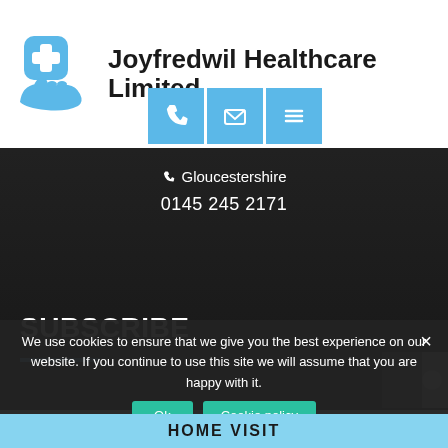[Figure (logo): Joyfredwil Healthcare Limited logo with blue cross and hand icon]
Joyfredwil Healthcare Limited
[Figure (infographic): Three light blue square icon buttons: phone, email, and menu (hamburger)]
Gloucestershire
0145 245 2171
SUBSCRIBE
We use cookies to ensure that we give you the best experience on our website. If you continue to use this site we will assume that you are happy with it.
HOME VISIT